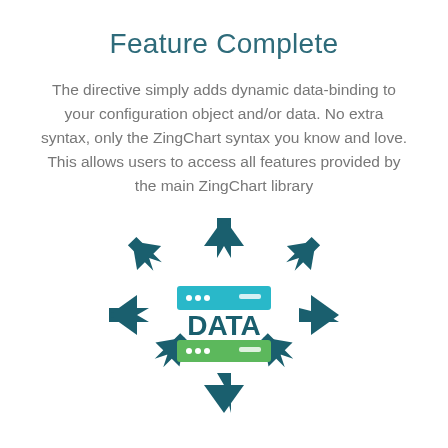Feature Complete
The directive simply adds dynamic data-binding to your configuration object and/or data. No extra syntax, only the ZingChart syntax you know and love. This allows users to access all features provided by the main ZingChart library
[Figure (infographic): Data distribution infographic: A central server/database icon with the word DATA in bold teal, flanked by a cyan bar and green bar (server rows), with eight dark teal arrows pointing outward in all eight compass directions (up, down, left, right, and four diagonals), representing data distribution or data-binding.]